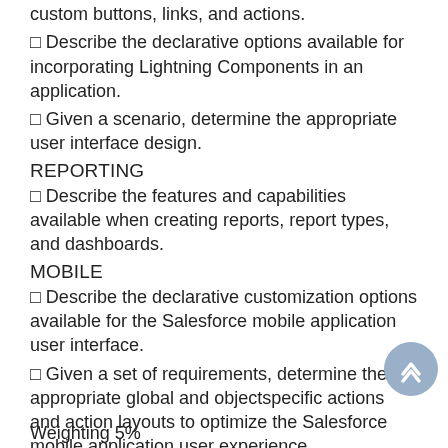❑ custom buttons, links, and actions.
❑ Describe the declarative options available for incorporating Lightning Components in an application.
❑ Given a scenario, determine the appropriate user interface design.
REPORTING
❑ Describe the features and capabilities available when creating reports, report types, and dashboards.
MOBILE
❑ Describe the declarative customization options available for the Salesforce mobile application user interface.
❑ Given a set of requirements, determine the appropriate global and objectspecific actions and action layouts to optimize the Salesforce mobile application user experience.
Weighting 27%
Weighting 3%
Weighting 14%
Weighting 5%